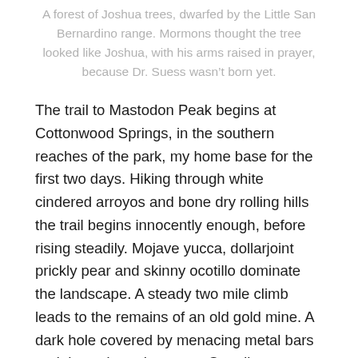A forest of Joshua trees, dwarfed by the Little San Bernardino range. Mormons thought the tree looked like Joshua, with his arms raised in prayer, because Dr. Suess wasn't born yet.
The trail to Mastodon Peak begins at Cottonwood Springs, in the southern reaches of the park, my home base for the first two days. Hiking through white cindered arroyos and bone dry rolling hills the trail begins innocently enough, before rising steadily. Mojave yucca, dollarjoint prickly pear and skinny ocotillo dominate the landscape. A steady two mile climb leads to the remains of an old gold mine. A dark hole covered by menacing metal bars and the order to keep out. Standing next to the mine were five young people. Two young ladies, Maggie and Cindy and three young men. They struck me as a group that had been in the wilderness before and I introduced myself. Hi I'm